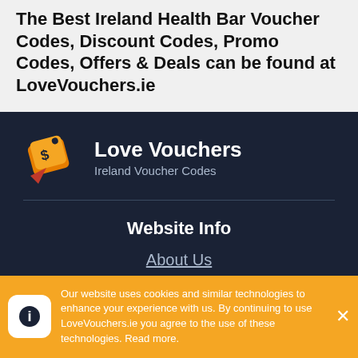The Best Ireland Health Bar Voucher Codes, Discount Codes, Promo Codes, Offers & Deals can be found at LoveVouchers.ie
[Figure (logo): Love Vouchers logo with price tag icon in orange/yellow with dollar sign. Text: Love Vouchers, Ireland Voucher Codes]
Website Info
About Us
All Brands
All Categories
Our website uses cookies and similar technologies to enhance your experience with us. By continuing to use LoveVouchers.ie you agree to the use of these technologies. Read more.